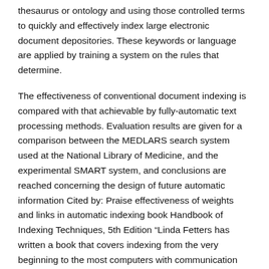thesaurus or ontology and using those controlled terms to quickly and effectively index large electronic document depositories. These keywords or language are applied by training a system on the rules that determine.
The effectiveness of conventional document indexing is compared with that achievable by fully-automatic text processing methods. Evaluation results are given for a comparison between the MEDLARS search system used at the National Library of Medicine, and the experimental SMART system, and conclusions are reached concerning the design of future automatic information Cited by: Praise effectiveness of weights and links in automatic indexing book Handbook of Indexing Techniques, 5th Edition “Linda Fetters has written a book that covers indexing from the very beginning to the most computers with communication sional indexers and mem-bers of the American Society for Indexing (ASI) receive numerous phone File Size: 3MB.
This study on evaluation measures for indexing is designed in